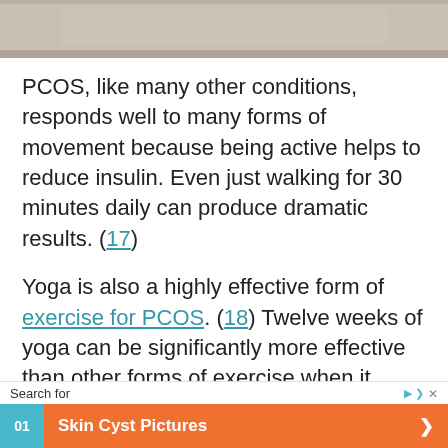[Figure (photo): Partial bottom edge of a photo, showing what appears to be a person or body on a surface, cropped at top of page]
PCOS, like many other conditions, responds well to many forms of movement because being active helps to reduce insulin. Even just walking for 30 minutes daily can produce dramatic results. (17)
Yoga is also a highly effective form of exercise for PCOS. (18) Twelve weeks of yoga can be significantly more effective than other forms of exercise when it comes to reducing testosterone, improving cycle freq[uency]. [twe
[Figure (screenshot): Advertisement overlay: Search for bar with play and close buttons, and an ad item numbered 01 for Skin Cyst Pictures with orange background and arrow]